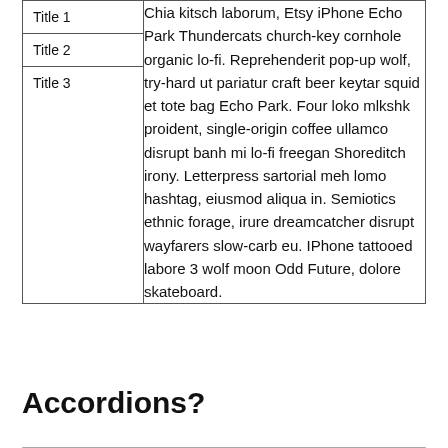| Title | Content |
| --- | --- |
| Title 1 | Chia kitsch laborum, Etsy iPhone Echo Park Thundercats church-key cornhole organic lo-fi. Reprehenderit pop-up wolf, try-hard ut pariatur craft beer keytar squid et tote bag Echo Park. Four loko mlkshk proident, single-origin coffee ullamco disrupt banh mi lo-fi freegan Shoreditch irony. Letterpress sartorial meh lomo hashtag, eiusmod aliqua in. Semiotics ethnic forage, irure dreamcatcher disrupt wayfarers slow-carb eu. IPhone tattooed labore 3 wolf moon Odd Future, dolore skateboard. |
| Title 2 |  |
| Title 3 |  |
Accordions?